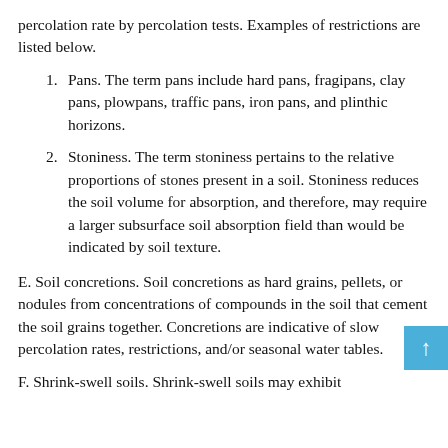percolation rate by percolation tests. Examples of restrictions are listed below.
1. Pans. The term pans include hard pans, fragipans, clay pans, plowpans, traffic pans, iron pans, and plinthic horizons.
2. Stoniness. The term stoniness pertains to the relative proportions of stones present in a soil. Stoniness reduces the soil volume for absorption, and therefore, may require a larger subsurface soil absorption field than would be indicated by soil texture.
E. Soil concretions. Soil concretions as hard grains, pellets, or nodules from concentrations of compounds in the soil that cement the soil grains together. Concretions are indicative of slow percolation rates, restrictions, and/or seasonal water tables.
F. Shrink-swell soils. Shrink-swell soils may exhibit